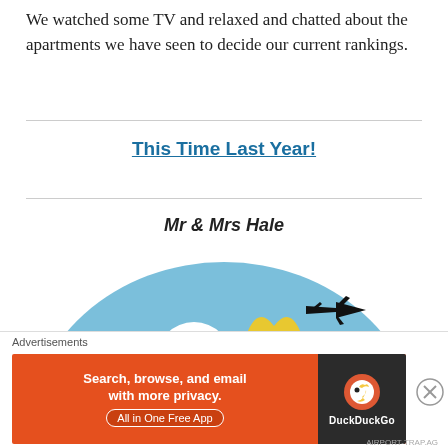We watched some TV and relaxed and chatted about the apartments we have seen to decide our current rankings.
This Time Last Year!
Mr & Mrs Hale
[Figure (illustration): A semicircular illustration showing two cartoon figures (man with glasses and woman with blonde hair) against a blue globe background with green landmasses and a black airplane silhouette above them.]
Advertisements
[Figure (other): DuckDuckGo advertisement banner. Orange background with text: Search, browse, and email with more privacy. All in One Free App. DuckDuckGo logo on dark right panel.]